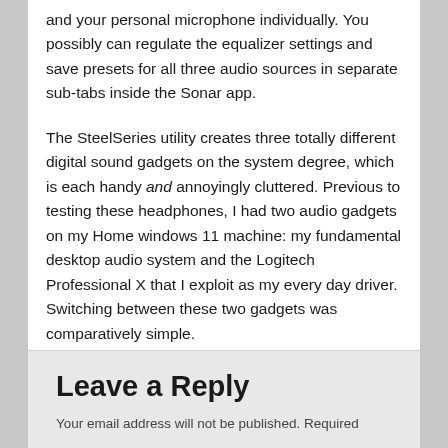and your personal microphone individually. You possibly can regulate the equalizer settings and save presets for all three audio sources in separate sub-tabs inside the Sonar app.
The SteelSeries utility creates three totally different digital sound gadgets on the system degree, which is each handy and annoyingly cluttered. Previous to testing these headphones, I had two audio gadgets on my Home windows 11 machine: my fundamental desktop audio system and the Logitech Professional X that I exploit as my every day driver. Switching between these two gadgets was comparatively simple.
This entry was posted in azoneu and tagged 77P, Arctis, Dongles, review, Rule, Software, Steelseries by workzone. Bookmark the permalink.
Leave a Reply
Your email address will not be published. Required